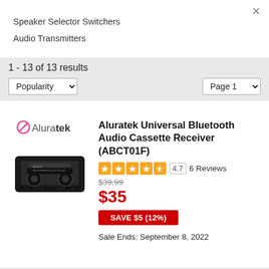Speaker Selector Switchers
Audio Transmitters
1 - 13 of 13 results
Popularity  Page 1
[Figure (logo): Aluratek brand logo in pink/magenta with stylized icon]
[Figure (photo): Black Bluetooth audio cassette adapter product photo]
Aluratek Universal Bluetooth Audio Cassette Receiver (ABCT01F)
4.7  6 Reviews
$39.99
$35
SAVE $5 (12%)
Sale Ends: September 8, 2022